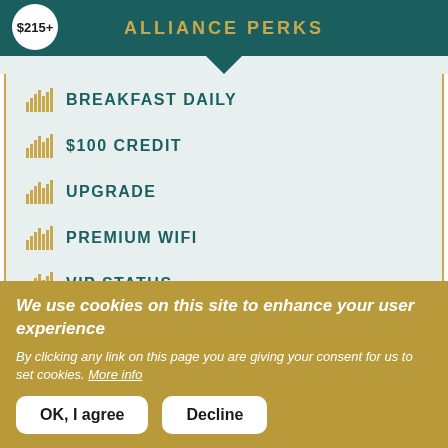$215+ ALLIANCE PERKS
BREAKFAST DAILY
$100 CREDIT
UPGRADE
PREMIUM WIFI
VIP STATUS
EARLY CHECK-IN
We use cookies on this site to enhance your user experience
By clicking any link on this page you are giving your consent for us to set cookies. More info
OK, I agree | Decline